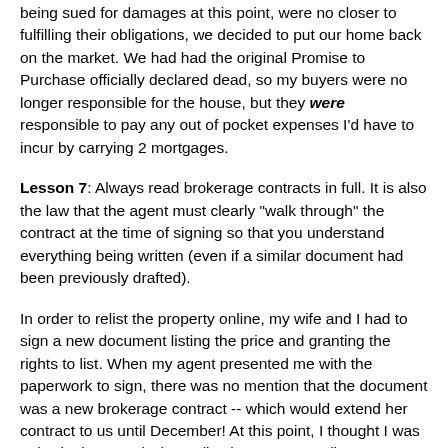being sued for damages at this point, were no closer to fulfilling their obligations, we decided to put our home back on the market. We had had the original Promise to Purchase officially declared dead, so my buyers were no longer responsible for the house, but they were responsible to pay any out of pocket expenses I'd have to incur by carrying 2 mortgages.
Lesson 7: Always read brokerage contracts in full. It is also the law that the agent must clearly "walk through" the contract at the time of signing so that you understand everything being written (even if a similar document had been previously drafted).
In order to relist the property online, my wife and I had to sign a new document listing the price and granting the rights to list. When my agent presented me with the paperwork to sign, there was no mention that the document was a new brokerage contract -- which would extend her contract to us until December! At this point, I thought I was only signing permission to list the property online, not to continue working with a negligent broker for 6 more months... It was an error on my part for not thoroughly reading what I was signing.